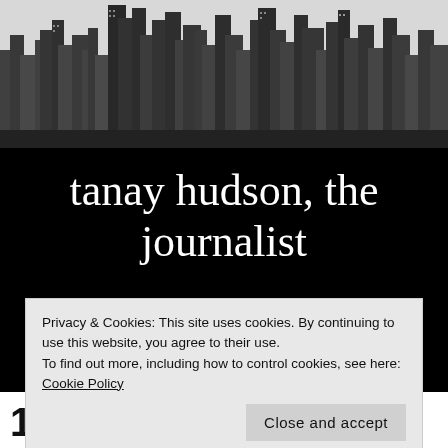[Figure (photo): Black and white aerial photograph of a city skyline with skyscrapers]
tanay hudson, the journalist
a collection of my original works.
Privacy & Cookies: This site uses cookies. By continuing to use this website, you agree to their use.
To find out more, including how to control cookies, see here: Cookie Policy
Close and accept
10 Iamsu! Songs You